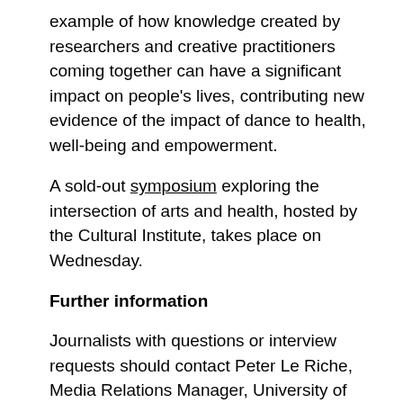example of how knowledge created by researchers and creative practitioners coming together can have a significant impact on people's lives, contributing new evidence of the impact of dance to health, well-being and empowerment.
A sold-out symposium exploring the intersection of arts and health, hosted by the Cultural Institute, takes place on Wednesday.
Further information
Journalists with questions or interview requests should contact Peter Le Riche, Media Relations Manager, University of Leeds on +44(0)113 343 2049 or email p.leriche@leeds.ac.uk